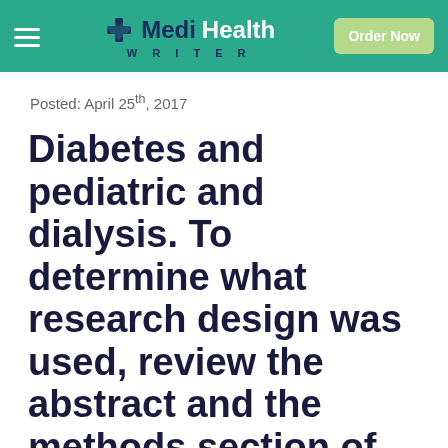MediHealth WRITER — Order Now
Posted: April 25th, 2017
Diabetes and pediatric and dialysis. To determine what research design was used, review the abstract and the methods section of the article.